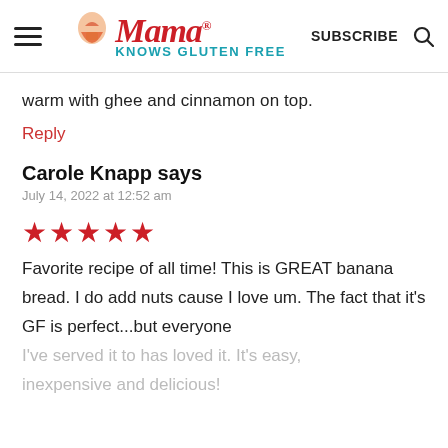Mama Knows Gluten Free — SUBSCRIBE
warm with ghee and cinnamon on top.
Reply
Carole Knapp says
July 14, 2022 at 12:52 am
★★★★★
Favorite recipe of all time! This is GREAT banana bread. I do add nuts cause I love um. The fact that it's GF is perfect...but everyone I've served it to has loved it. It's easy, inexpensive and delicious!